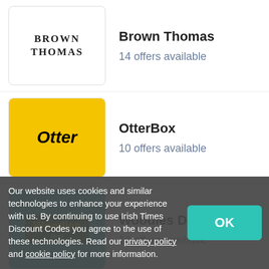Brown Thomas — 14 offers available
OtterBox — 10 offers available
Woodies DIY — 18 offers available
Screwfix — 10 offers available
Garmin
Our website uses cookies and similar technologies to enhance your experience with us. By continuing to use Irish Times Discount Codes you agree to the use of these technologies. Read our privacy policy and cookie policy for more information.